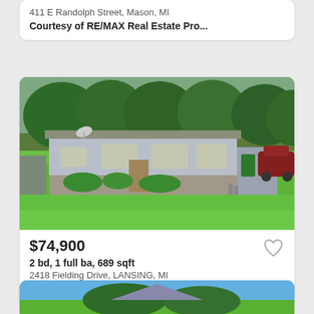411 E Randolph Street, Mason, MI
Courtesy of RE/MAX Real Estate Pro...
[Figure (photo): Exterior photo of a small ranch-style house with gray/blue siding and stone lower facade, large green lawn in foreground, trees in background, satellite dish on roof, red car visible on right, green trash bin on right.]
$74,900
2 bd, 1 full ba, 689 sqft
2418 Fielding Drive, LANSING, MI
Courtesy of Garno Property Manage...
[Figure (photo): Partial exterior photo of another house listing, showing blue sky and green trees at bottom of page.]